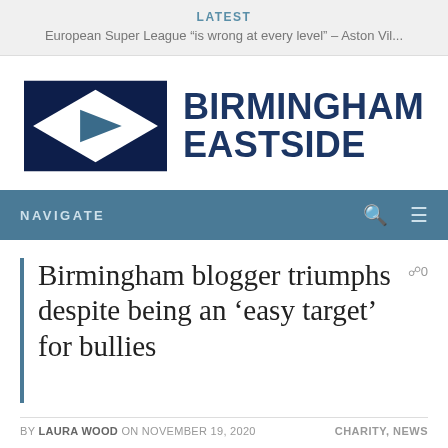LATEST
European Super League "is wrong at every level" – Aston Vil...
[Figure (logo): Birmingham Eastside logo: dark navy rectangle with white diamond shape containing a blue play triangle, next to bold navy text reading BIRMINGHAM EASTSIDE]
NAVIGATE
Birmingham blogger triumphs despite being an 'easy target' for bullies
⌂0
BY LAURA WOOD ON NOVEMBER 19, 2020    CHARITY, NEWS